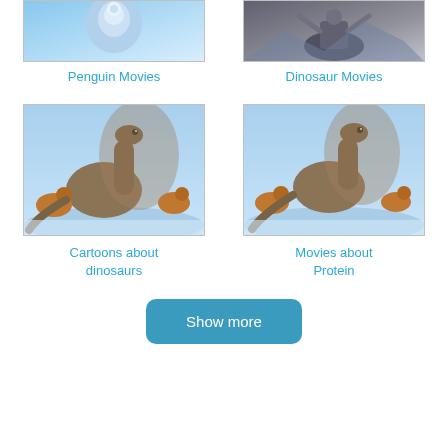[Figure (photo): Thumbnail image for Penguin Movies category]
Penguin Movies
[Figure (photo): Thumbnail image for Dinosaur Movies category]
Dinosaur Movies
[Figure (photo): Thumbnail image for Cartoons about dinosaurs category - animated dinosaur scene]
Cartoons about dinosaurs
[Figure (photo): Thumbnail image for Movies about Protein category - animated dinosaur scene]
Movies about Protein
Show more